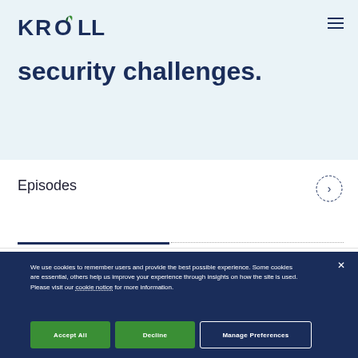[Figure (logo): Kroll logo with green leaf accent on letter O]
[Figure (other): Hamburger menu icon (three horizontal lines)]
security challenges.
Episodes
[Figure (other): Right arrow in dashed circle]
We use cookies to remember users and provide the best possible experience. Some cookies are essential, others help us improve your experience through insights on how the site is used. Please visit our cookie notice for more information.
Accept All
Decline
Manage Preferences